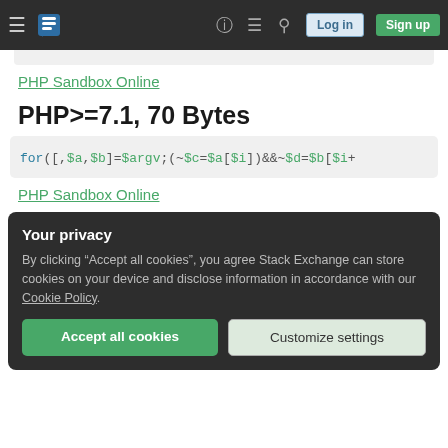Stack Exchange navigation bar with hamburger menu, logo, help, chat, search icons, Log in and Sign up buttons
PHP Sandbox Online
PHP>=7.1, 70 Bytes
for([,$a,$b]=$argv;(~$c=$a[$i])&&~$d=$b[$i+
PHP Sandbox Online
Your privacy
By clicking "Accept all cookies", you agree Stack Exchange can store cookies on your device and disclose information in accordance with our Cookie Policy.
Accept all cookies
Customize settings